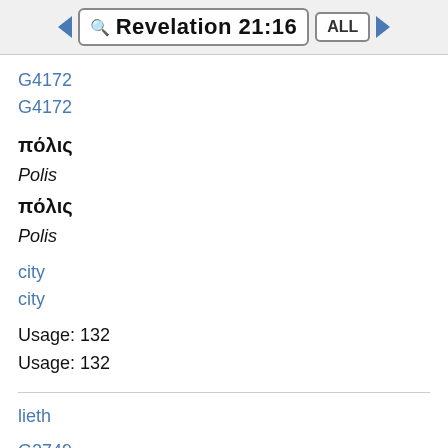Revelation 21:16
G4172
G4172
πόλις
Polis
πόλις
Polis
city
city
Usage: 132
Usage: 132
lieth
G2749
κεῖμαι
Keimai